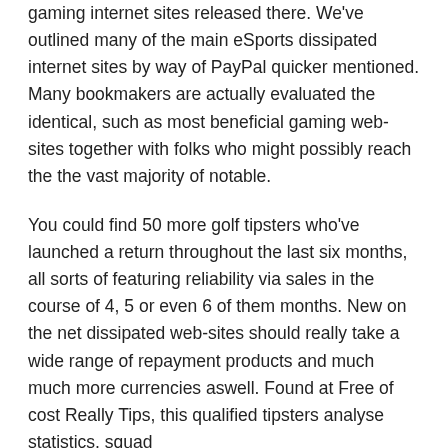gaming internet sites released there. We've outlined many of the main eSports dissipated internet sites by way of PayPal quicker mentioned. Many bookmakers are actually evaluated the identical, such as most beneficial gaming web-sites together with folks who might possibly reach the the vast majority of notable.
You could find 50 more golf tipsters who've launched a return throughout the last six months, all sorts of featuring reliability via sales in the course of 4, 5 or even 6 of them months. New on the net dissipated web-sites should really take a wide range of repayment products and much much more currencies aswell. Found at Free of cost Really Tips, this qualified tipsters analyse statistics, squad